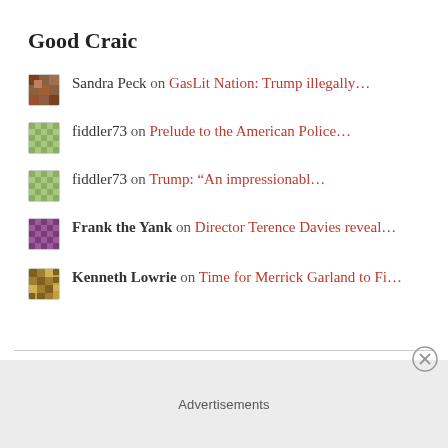Good Craic
Sandra Peck on GasLit Nation: Trump illegally…
fiddler73 on Prelude to the American Police…
fiddler73 on Trump: “An impressionabl…
Frank the Yank on Director Terence Davies reveal…
Kenneth Lowrie on Time for Merrick Garland to Fi…
Advertisements